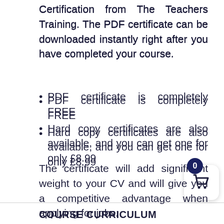Certification from The Teachers Training. The PDF certificate can be downloaded instantly right after you have completed your course.
PDF certificate is completely FREE
Hard copy certificates are also available, and you can get one for only £8.99
The certificate will add significant weight to your CV and will give you a competitive advantage when applying for jobs.
COURSE CURRICULUM